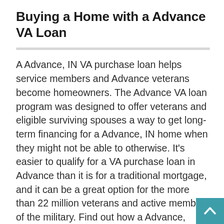Buying a Home with a Advance VA Loan
A Advance, IN VA purchase loan helps service members and Advance veterans become homeowners. The Advance VA loan program was designed to offer veterans and eligible surviving spouses a way to get long-term financing for a Advance, IN home when they might not be able to otherwise. It’s easier to qualify for a VA purchase loan in Advance than it is for a traditional mortgage, and it can be a great option for the more than 22 million veterans and active members of the military. Find out how a Advance, Indiana VA loan can help you get into the home of your dreams. Most members of the military, veterans